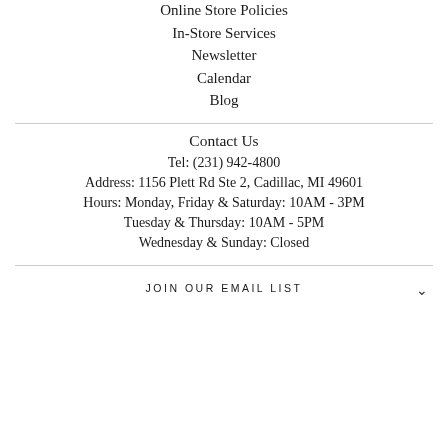Online Store Policies
In-Store Services
Newsletter
Calendar
Blog
Contact Us
Tel: (231) 942-4800
Address: 1156 Plett Rd Ste 2, Cadillac, MI 49601
Hours: Monday, Friday & Saturday: 10AM - 3PM
Tuesday & Thursday: 10AM - 5PM
Wednesday & Sunday: Closed
JOIN OUR EMAIL LIST